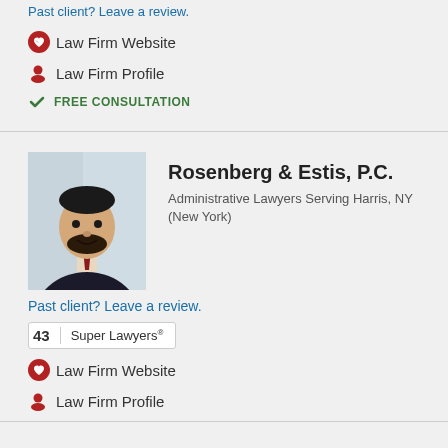Law Firm Website
Law Firm Profile
FREE CONSULTATION
[Figure (photo): Professional headshot of a man in a dark suit with a tie, smiling, with a blurred building background]
Rosenberg & Estis, P.C.
Administrative Lawyers Serving Harris, NY (New York)
Past client? Leave a review.
43 Super Lawyers
Law Firm Website
Law Firm Profile